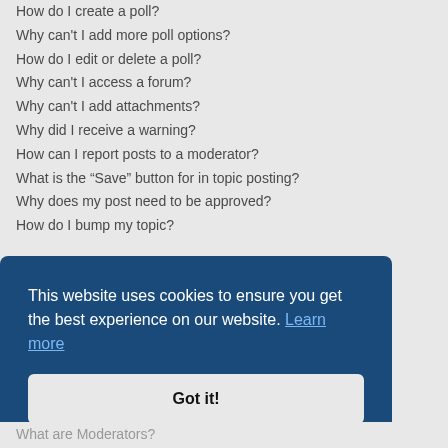How do I create a poll?
Why can't I add more poll options?
How do I edit or delete a poll?
Why can't I access a forum?
Why can't I add attachments?
Why did I receive a warning?
How can I report posts to a moderator?
What is the “Save” button for in topic posting?
Why does my post need to be approved?
How do I bump my topic?
Formatting and Topic Types
What is BBCode?
Can I use HTML?
What are Smilies?
Can I post images?
This website uses cookies to ensure you get the best experience on our website. Learn more
Got it!
What are Moderators?